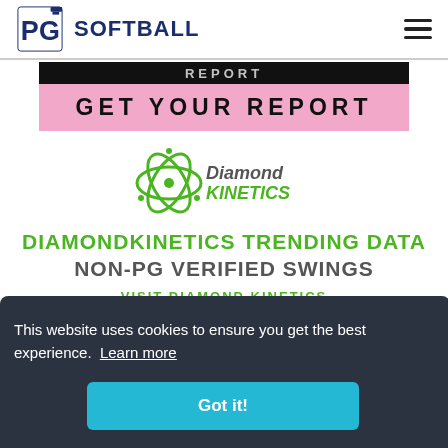PG SOFTBALL
[Figure (logo): PG Softball logo with 'GET YOUR REPORT' pink banner]
[Figure (logo): Diamond Kinetics logo - atom icon with Diamond Kinetics text in green and gray]
DIAMONDKINETICS TRENDING DATA
NON-PG VERIFIED SWINGS
VISIT DIAMOND KINETICS
This website uses cookies to ensure you get the best experience. Learn more
Got it!